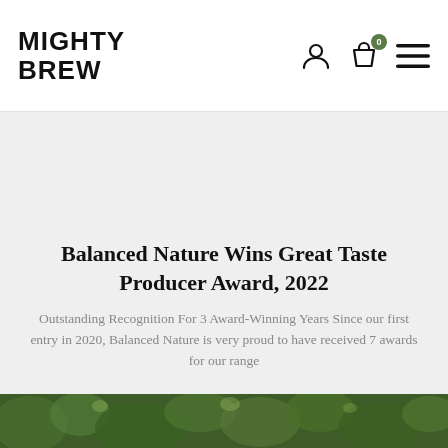MIGHTY BREW
Balanced Nature Wins Great Taste Producer Award, 2022
Outstanding Recognition For 3 Award-Winning Years Since our first entry in 2020, Balanced Nature is very proud to have received 7 awards for our range
[Figure (photo): Dark green foliage/nature image strip at the bottom of the page]